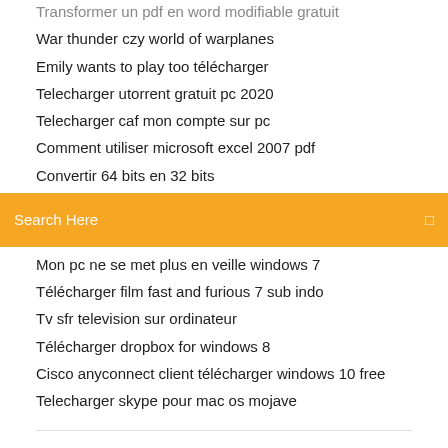Transformer un pdf en word modifiable gratuit
War thunder czy world of warplanes
Emily wants to play too télécharger
Telecharger utorrent gratuit pc 2020
Telecharger caf mon compte sur pc
Comment utiliser microsoft excel 2007 pdf
Convertir 64 bits en 32 bits
Search Here
Mon pc ne se met plus en veille windows 7
Télécharger film fast and furious 7 sub indo
Tv sfr television sur ordinateur
Télécharger dropbox for windows 8
Cisco anyconnect client télécharger windows 10 free
Telecharger skype pour mac os mojave
24 Aug 2018 You can test the service for yourself with the free three-day trial. Google Play · ExpressVPN. Express VPN. With